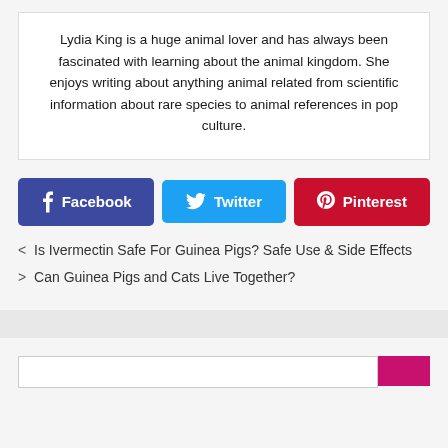Lydia King is a huge animal lover and has always been fascinated with learning about the animal kingdom. She enjoys writing about anything animal related from scientific information about rare species to animal references in pop culture.
[Figure (infographic): Social share buttons: Facebook (dark blue), Twitter (light blue), Pinterest (red)]
< Is Ivermectin Safe For Guinea Pigs? Safe Use & Side Effects
> Can Guinea Pigs and Cats Live Together?